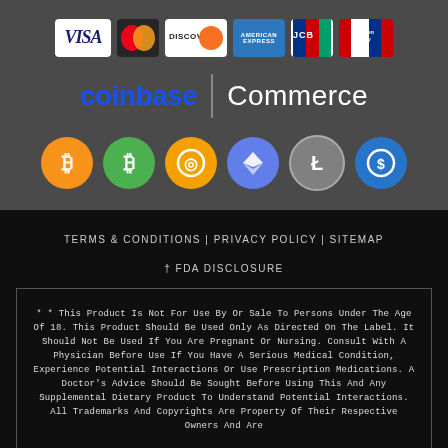[Figure (logo): Payment card logos: Visa, Mastercard, Discover, American Express, JCB, UnionPay]
[Figure (logo): Coinbase Commerce logo with cryptocurrency icons: Bitcoin, Bitcoin Cash, Dai, Ethereum, Litecoin, USD Coin]
TERMS & CONDITIONS | PRIVACY POLICY | SITEMAP
† FDA DISCLOSURE
* * This Product Is Not For Use By Or Sale To Persons Under The Age Of 18. This Product Should Be Used Only As Directed On The Label. It Should Not Be Used If You Are Pregnant Or Nursing. Consult With A Physician Before Use If You Have A Serious Medical Condition, Experience Potential Interactions Or Use Prescription Medications. A Doctor's Advice Should Be Sought Before Using This And Any Supplemental Dietary Product To Understand Potential Interactions. All Trademarks And Copyrights Are Property Of Their Respective Owners And Are